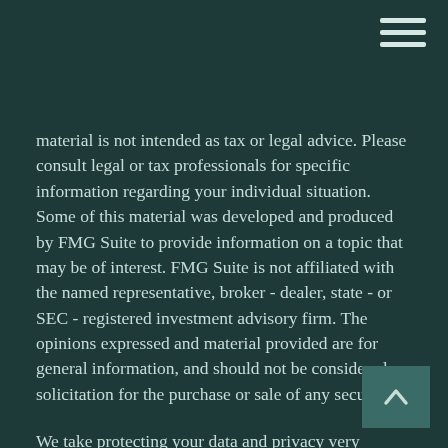menu icon (hamburger)
material is not intended as tax or legal advice. Please consult legal or tax professionals for specific information regarding your individual situation. Some of this material was developed and produced by FMG Suite to provide information on a topic that may be of interest. FMG Suite is not affiliated with the named representative, broker - dealer, state - or SEC - registered investment advisory firm. The opinions expressed and material provided are for general information, and should not be considered a solicitation for the purchase or sale of any security.
We take protecting your data and privacy very seriously. As of January 1, 2020 the California Consumer Privacy Act (CCPA) suggests the following link as an extra measure to safeguard your data: Do not sell my personal information.
Copyright 2022 FMG Suite.
Investment Advisory Services offered through AlphaStar Capital Management, LLC a SEC Registered Investment